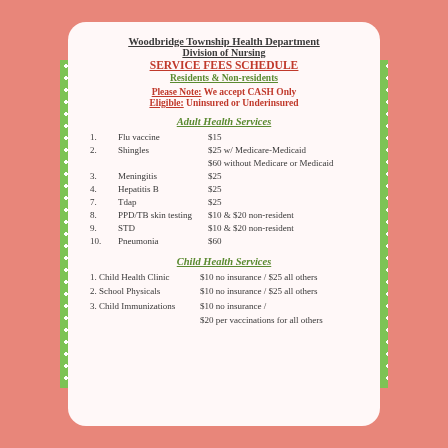Woodbridge Township Health Department
Division of Nursing
SERVICE FEES SCHEDULE
Residents & Non-residents
Please Note: We accept CASH Only
Eligible: Uninsured or Underinsured
Adult Health Services
1. Flu vaccine   $15
2. Shingles   $25 w/ Medicare-Medicaid   $60 without Medicare or Medicaid
3. Meningitis   $25
4. Hepatitis B   $25
7. Tdap   $25
8. PPD/TB skin testing   $10 & $20 non-resident
9. STD   $10 & $20 non-resident
10. Pneumonia   $60
Child Health Services
1. Child Health Clinic   $10 no insurance / $25 all others
2. School Physicals   $10 no insurance / $25 all others
3. Child Immunizations   $10 no insurance / $20 per vaccinations for all others